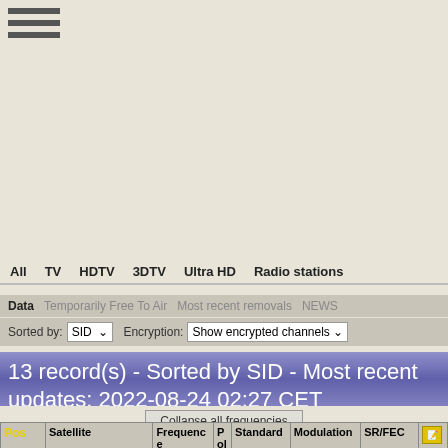[Figure (other): Hamburger menu icon with three horizontal lines]
All   TV   HDTV   3DTV   Ultra HD   Radio stations
Data   Temporarily Free To Air   Most recent removals   NEWS
Sorted by: SID ▾   Encryption: Show encrypted channels ▾
13 record(s) - Sorted by SID - Most recent updates: 2022-08-24 02:27 CET
Collapse all frequencies
| Pos | Satellite | Frequency | Pol | Standard | Modulation | SR/FEC |  |
| --- | --- | --- | --- | --- | --- | --- | --- |
| 16.0° E | ⊟ 1 Eutelsat 16A | 12717.00 | H | DVB-S2 | QPSK | 7500 3/4 | ✎ |